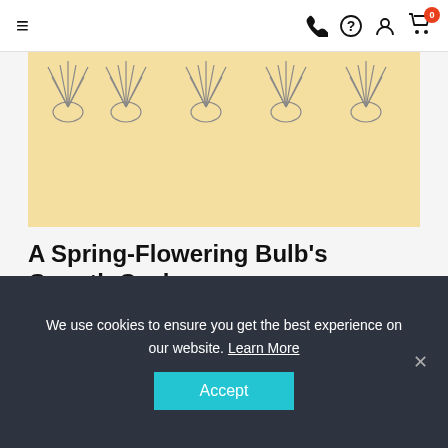≡  [phone] [help] [account] [cart 0]
[Figure (illustration): Yellow banner with illustrated spring flower bulbs arranged in a row at the top]
A Spring-Flowering Bulb's Growth Cycle
Spring-flowering bulbs have growth cycles that set them apart from most other plants.
Read More
We use cookies to ensure you get the best experience on our website. Learn More Accept